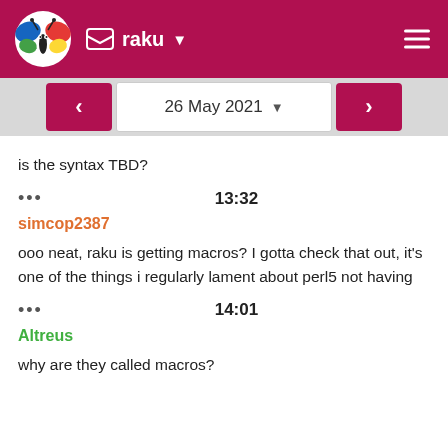raku
26 May 2021
is the syntax TBD?
13:32
simcop2387
ooo neat, raku is getting macros? I gotta check that out, it's one of the things i regularly lament about perl5 not having
14:01
Altreus
why are they called macros?